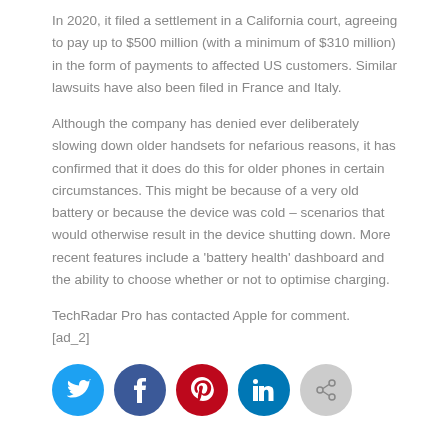In 2020, it filed a settlement in a California court, agreeing to pay up to $500 million (with a minimum of $310 million) in the form of payments to affected US customers. Similar lawsuits have also been filed in France and Italy.
Although the company has denied ever deliberately slowing down older handsets for nefarious reasons, it has confirmed that it does do this for older phones in certain circumstances. This might be because of a very old battery or because the device was cold – scenarios that would otherwise result in the device shutting down. More recent features include a 'battery health' dashboard and the ability to choose whether or not to optimise charging.
TechRadar Pro has contacted Apple for comment.
[ad_2]
[Figure (infographic): Row of five social media sharing icons: Twitter (blue circle), Facebook (dark blue circle), Pinterest (red circle), LinkedIn (teal/blue circle), Share (grey circle)]